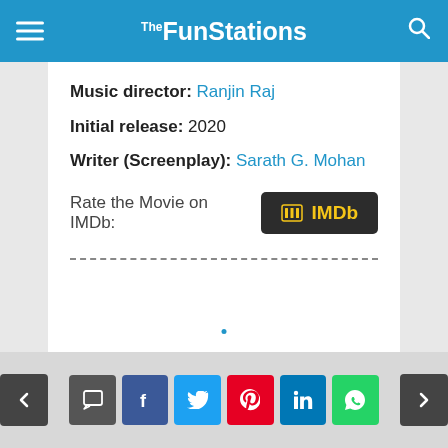TheFunStations
Music director: Ranjin Raj
Initial release: 2020
Writer (Screenplay): Sarath G. Mohan
Rate the Movie on IMDb: IMDb
navigation bar with share buttons